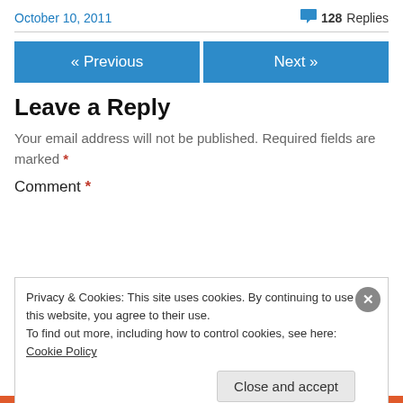October 10, 2011
128 Replies
« Previous
Next »
Leave a Reply
Your email address will not be published. Required fields are marked *
Comment *
Privacy & Cookies: This site uses cookies. By continuing to use this website, you agree to their use.
To find out more, including how to control cookies, see here: Cookie Policy
Close and accept